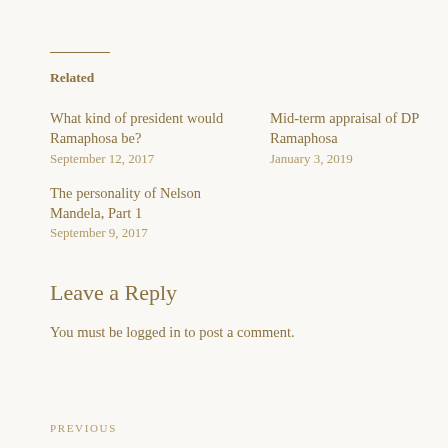Related
What kind of president would Ramaphosa be?
September 12, 2017
Mid-term appraisal of DP Ramaphosa
January 3, 2019
The personality of Nelson Mandela, Part 1
September 9, 2017
Leave a Reply
You must be logged in to post a comment.
PREVIOUS